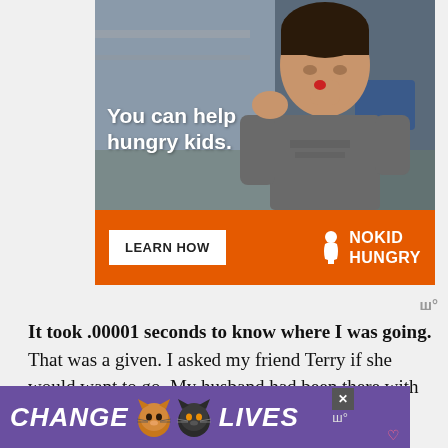[Figure (photo): Advertisement banner for No Kid Hungry charity. Shows a young boy eating food in a classroom setting. Text overlay reads 'You can help hungry kids.' Orange bar below with 'LEARN HOW' button and NO KID HUNGRY logo.]
It took .00001 seconds to know where I was going. That was a given. I asked my friend Terry if she would want to go. My husband had been there with me recently and he didn't want to go again so so [obscured] [obscured] It
[Figure (photo): Advertisement banner at bottom of page with purple background. Text reads 'CHANGE LIVES' with cat images in the middle. Has a close X button.]